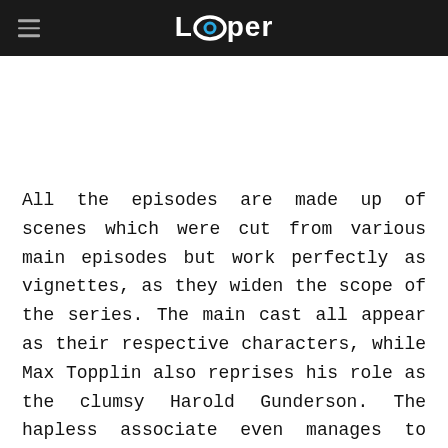Looper
All the episodes are made up of scenes which were cut from various main episodes but work perfectly as vignettes, as they widen the scope of the series. The main cast all appear as their respective characters, while Max Topplin also reprises his role as the clumsy Harold Gunderson. The hapless associate even manages to beat Rick Hoffman's Louis Litt in a pretend battle of wits at one point, which further adds to the list of reasons why the